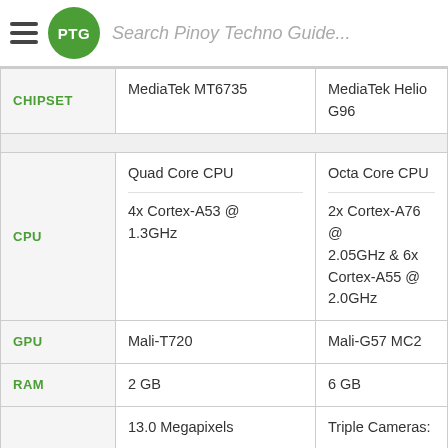PTG Search Pinoy Techno Guide...
|  | Col1 | Col2 |
| --- | --- | --- |
| CHIPSET | MediaTek MT6735 | MediaTek Helio G96 |
| CPU | Quad Core CPU
4x Cortex-A53 @ 1.3GHz | Octa Core CPU
2x Cortex-A76 @ 2.05GHz & 6x Cortex-A55 @ 2.0GHz |
| GPU | Mali-T720 | Mali-G57 MC2 |
| RAM | 2 GB | 6 GB |
|  | 13.0 Megapixels
Autofocus
Dual LED Flash | Triple Cameras:
50MP Main Camera (f/1.6 Aperture, Autofocus) |